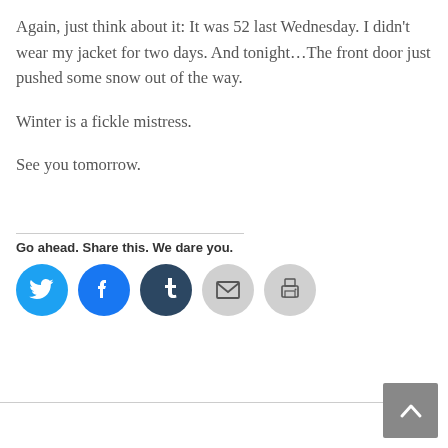Again, just think about it: It was 52 last Wednesday. I didn't wear my jacket for two days. And tonight…The front door just pushed some snow out of the way.
Winter is a fickle mistress.
See you tomorrow.
Go ahead. Share this. We dare you.
[Figure (infographic): Social share buttons: Twitter (blue), Facebook (blue), Tumblr (dark blue), Email (light grey with envelope icon), Print (light grey with printer icon)]
[Figure (other): Back to top button - grey square with white chevron/caret pointing up]